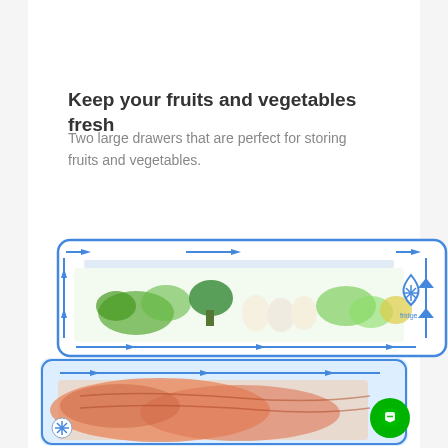[Figure (photo): Top portion of a refrigerator interior showing a transparent drawer with vegetables and flowers visible inside, dark background.]
Keep your fruits and vegetables fresh
Two large drawers that are perfect for storing fruits and vegetables.
[Figure (infographic): Refrigerator crisper drawer diagram showing airflow arrows (blue) circulating around a drawer filled with vegetables and eggs, with a Fridge logo/snowflake icon on the right side.]
[Figure (photo): Lower refrigerator drawer containing salmon/fish with blue airflow arrows at the top, partially visible with a snowflake icon on the left.]